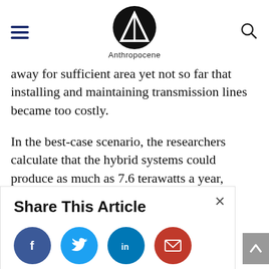Anthropocene
away for sufficient area yet not so far that installing and maintaining transmission lines became too costly.
In the best-case scenario, the researchers calculate that the hybrid systems could produce as much as 7.6 terawatts a year, which translates to about 10,600 terawatt-
[Figure (screenshot): Share This Article overlay with close button and social media icon buttons: Facebook (blue), Twitter (light blue), LinkedIn (dark blue), Email (red)]